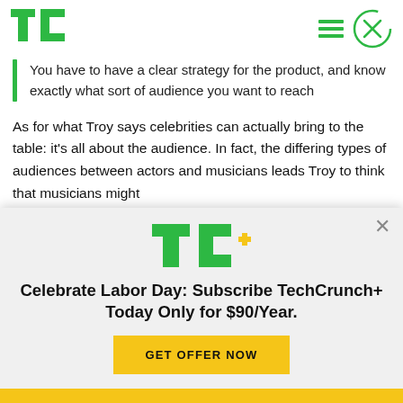TechCrunch
You have to have a clear strategy for the product, and know exactly what sort of audience you want to reach
As for what Troy says celebrities can actually bring to the table: it’s all about the audience. In fact, the differing types of audiences between actors and musicians leads Troy to think that musicians might
[Figure (logo): TC+ logo with green TC and yellow plus sign]
Celebrate Labor Day: Subscribe TechCrunch+ Today Only for $90/Year.
GET OFFER NOW